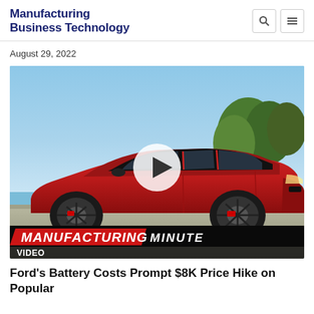Manufacturing Business Technology
August 29, 2022
[Figure (screenshot): Red Ford Mustang Mach-E electric SUV shown from the side, with a play button overlay and 'MANUFACTURING MINUTE' branding banner. A 'VIDEO' label appears at the bottom left of the image.]
Ford's Battery Costs Prompt $8K Price Hike on Popular